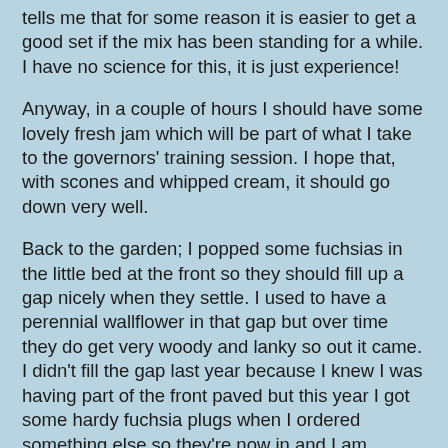tells me that for some reason it is easier to get a good set if the mix has been standing for a while.  I have no science for this, it is just experience!
Anyway, in a couple of hours I should have some lovely fresh jam which will be part of what I take to the governors' training session.  I hope that, with scones and whipped cream, it should go down very well.
Back to the garden; I popped some fuchsias in the little bed at the front so they should fill up a gap nicely when they settle.  I used to have a perennial wallflower in that gap but over time they do get very woody and lanky so out it came.  I didn't fill the gap last year because I knew I was having part of the front paved but this year I got some hardy fuchsia plugs when I ordered something else so  they're now in and I am hoping that they will provide green and colour at the front for years to come.
Sonja isn't coming after all so I have another free day  A bit of baking, maybe, and the kitchen certainly needs a sort out and so does, surprise, surprise, my bedroom.  One of these